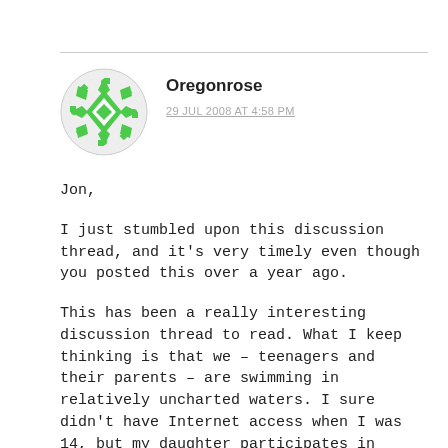[Figure (illustration): Green geometric/floral avatar icon for user Oregonrose]
Oregonrose
29 JUL 2008 AT 4:58 PM
Jon,
I just stumbled upon this discussion thread, and it's very timely even though you posted this over a year ago.
This has been a really interesting discussion thread to read. What I keep thinking is that we – teenagers and their parents – are swimming in relatively uncharted waters. I sure didn't have Internet access when I was 14, but my daughter participates in online art communities and chat rooms. I think a lot about how to walk that fine line between giving her the independence and autonomy she wants, and yet seeing that she